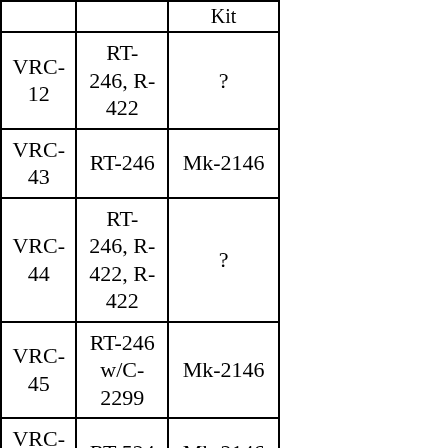|  |  | Kit |
| --- | --- | --- |
| VRC-12 | RT-246, R-422 | ? |
| VRC-43 | RT-246 | Mk-2146 |
| VRC-44 | RT-246, R-422, R-422 | ? |
| VRC-45 | RT-246 w/C-2299 | Mk-2146 |
| VRC-46 | RT-524 | Mk-2146 |
| VRC-47 | RT-524, R-442 | ? |
| VRC-48 | RT-524, R-442, R-442 | ? |